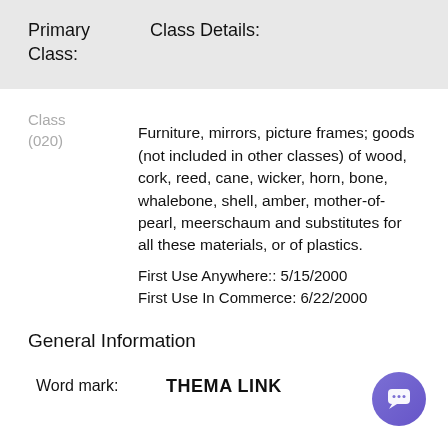Primary Class:
Class Details:
Class (020)
Furniture, mirrors, picture frames; goods (not included in other classes) of wood, cork, reed, cane, wicker, horn, bone, whalebone, shell, amber, mother-of-pearl, meerschaum and substitutes for all these materials, or of plastics.
First Use Anywhere:: 5/15/2000
First Use In Commerce: 6/22/2000
General Information
Word mark:	THEMA LINK